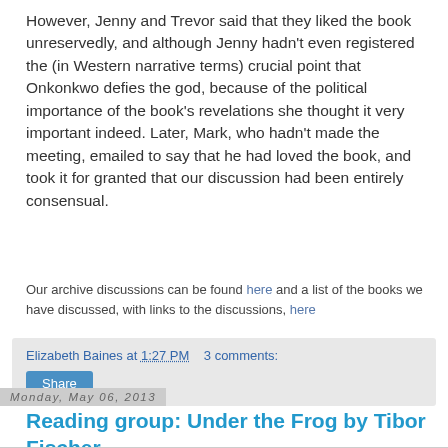However, Jenny and Trevor said that they liked the book unreservedly, and although Jenny hadn't even registered the (in Western narrative terms) crucial point that Onkonkwo defies the god, because of the political importance of the book's revelations she thought it very important indeed. Later, Mark, who hadn't made the meeting, emailed to say that he had loved the book, and took it for granted that our discussion had been entirely consensual.
Our archive discussions can be found here and a list of the books we have discussed, with links to the discussions, here
Elizabeth Baines at 1:27 PM   3 comments:
Share
Monday, May 06, 2013
Reading group: Under the Frog by Tibor Fischer